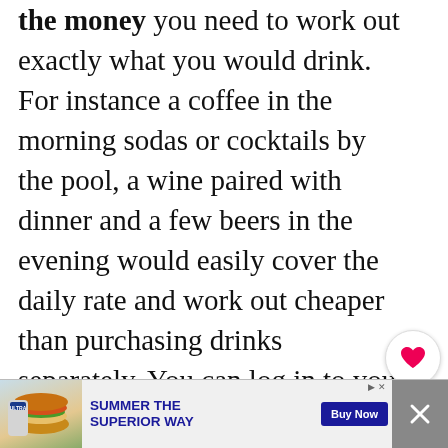the money you need to work out exactly what you would drink. For instance a coffee in the morning sodas or cocktails by the pool, a wine paired with dinner and a few beers in the evening would easily cover the daily rate and work out cheaper than purchasing drinks separately. You can log in to your cruise booking to get your cruise drink package price. But read on for some more guidance on the rough prices of the drink packages and prices of the drinks to gauge whether you will need a
[Figure (infographic): Social sharing sidebar with heart/like button (count: 39) and share button]
[Figure (infographic): What's Next card showing thumbnail of a person and text: WHAT'S NEXT → MSC Yacht Club What's...]
[Figure (infographic): Advertisement banner: Summer The Superior Way - Buy Now, with beer and burger imagery, close button]